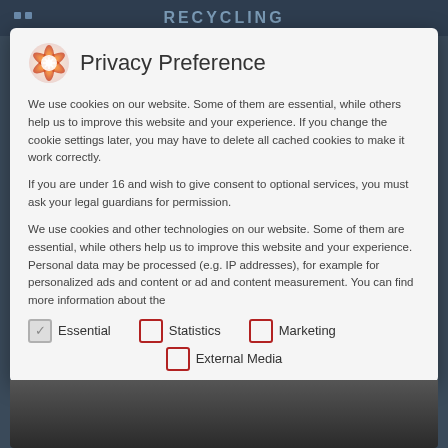Privacy Preference
We use cookies on our website. Some of them are essential, while others help us to improve this website and your experience. If you change the cookie settings later, you may have to delete all cached cookies to make it work correctly.
If you are under 16 and wish to give consent to optional services, you must ask your legal guardians for permission.
We use cookies and other technologies on our website. Some of them are essential, while others help us to improve this website and your experience. Personal data may be processed (e.g. IP addresses), for example for personalized ads and content or ad and content measurement. You can find more information about the
Essential
Statistics
Marketing
External Media